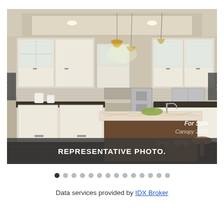[Figure (photo): Kitchen interior photo showing white cabinets, granite island countertop, bar stools, pendant lights, stainless steel appliances, tile backsplash. Navigation arrows on left and right. Caption bar at bottom reading 'REPRESENTATIVE PHOTO.' Watermark 'For Sale Canopy 2022' in lower right.]
REPRESENTATIVE PHOTO.
Data services provided by IDX Broker